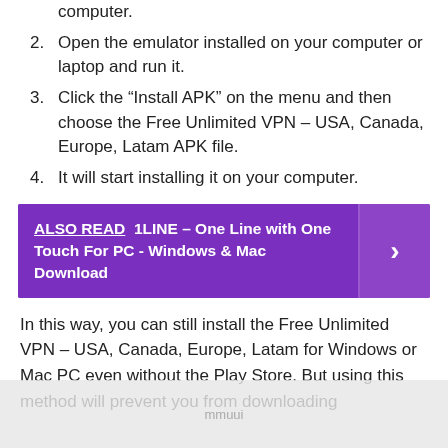computer.
2. Open the emulator installed on your computer or laptop and run it.
3. Click the “Install APK” on the menu and then choose the Free Unlimited VPN – USA, Canada, Europe, Latam APK file.
4. It will start installing it on your computer.
ALSO READ  1LINE – One Line with One Touch For PC - Windows & Mac Download
In this way, you can still install the Free Unlimited VPN – USA, Canada, Europe, Latam for Windows or Mac PC even without the Play Store. But using this method will prevent you from downloading